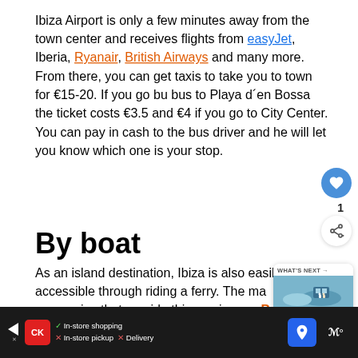Ibiza Airport is only a few minutes away from the town center and receives flights from easyJet, Iberia, Ryanair, British Airways and many more. From there, you can get taxis to take you to town for €15-20. If you go bu bus to Playa d´en Bossa the ticket costs €3.5 and €4 if you go to City Center. You can pay in cash to the bus driver and he will let you know which one is your stop.
By boat
As an island destination, Ibiza is also easily accessible through riding a ferry. The main companies that provide this service are Baleària, Is...
[Figure (other): UI overlay: heart/like button (blue circle with heart icon), like count '1', and share button. Also a 'What's Next' card showing a travel image with text '20 Most Instagramma...']
[Figure (other): Advertisement bar at bottom: Google ad icon, CK logo, checkmarks for 'In-store shopping', crosses for 'In-store pickup' and 'Delivery', blue navigation arrow button, wave/music icon.]